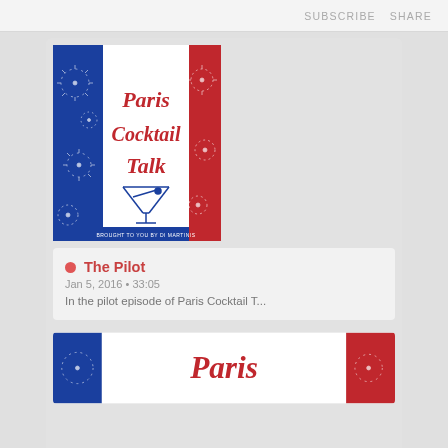SUBSCRIBE   SHARE
[Figure (illustration): Paris Cocktail Talk podcast cover art with blue, white, red French flag sections, fireworks, martini glass, and text 'Paris Cocktail Talk']
The Pilot
Jan 5, 2016 • 33:05
In the pilot episode of Paris Cocktail T...
[Figure (illustration): Partial Paris Cocktail Talk podcast cover art showing 'Paris' in red script on white with blue and red side panels]